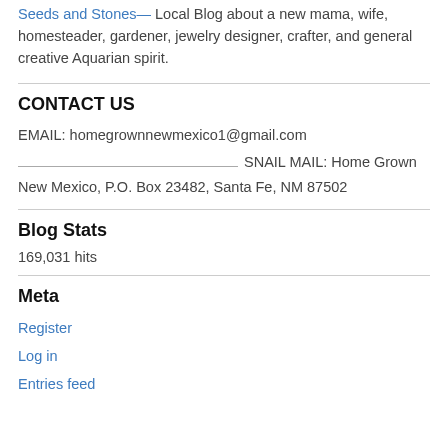Seeds and Stones— Local Blog about a new mama, wife, homesteader, gardener, jewelry designer, crafter, and general creative Aquarian spirit.
CONTACT US
EMAIL: homegrownnewmexico1@gmail.com
SNAIL MAIL: Home Grown New Mexico, P.O. Box 23482, Santa Fe, NM 87502
Blog Stats
169,031 hits
Meta
Register
Log in
Entries feed